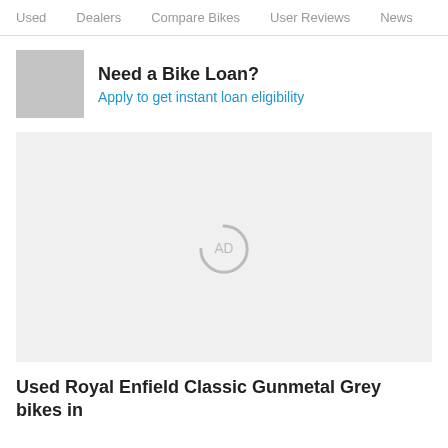Used   Dealers   Compare Bikes   User Reviews   News
[Figure (other): Grey placeholder image for bike loan advertisement]
Need a Bike Loan?
Apply to get instant loan eligibility
[Figure (other): Advertisement placeholder with AD text in a partial circle loading indicator]
Used Royal Enfield Classic Gunmetal Grey bikes in